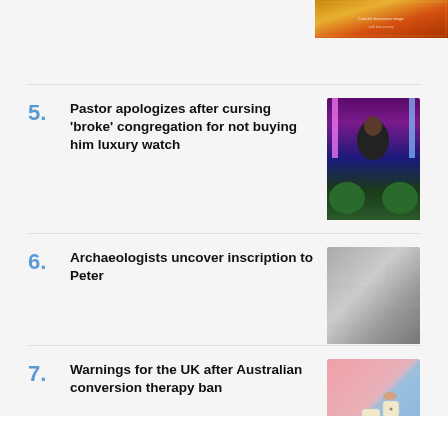[Figure (photo): Decorative colorful image in top right corner]
5. Pastor apologizes after cursing 'broke' congregation for not buying him luxury watch
[Figure (photo): A man in a dark jacket standing in front of pink/purple neon lights with green bushes]
6. Archaeologists uncover inscription to Peter
[Figure (photo): Gray textured stone surface]
7. Warnings for the UK after Australian conversion therapy ban
[Figure (photo): A hand holding dice on a two-toned pink and blue background]